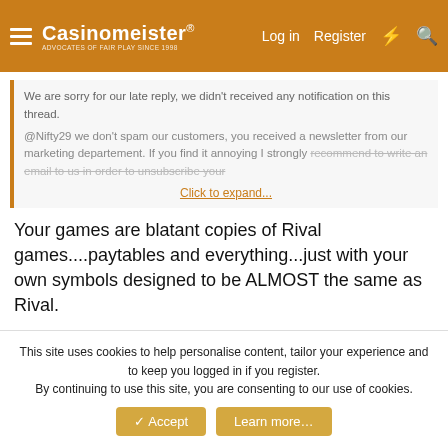Casinomeister® | Log in | Register
We are sorry for our late reply, we didn't received any notification on this thread.

@Nifty29 we don't spam our customers, you received a newsletter from our marketing departement. If you find it annoying I strongly recommend to write an email to us in order to unsubscribe your...

Click to expand...
Your games are blatant copies of Rival games....paytables and everything...just with your own symbols designed to be ALMOST the same as Rival.
I'm not a fan of Rival, but I hate content thieves and people who present me with crap and try to convince me it is chocolate a whole lot more.
This site uses cookies to help personalise content, tailor your experience and to keep you logged in if you register.
By continuing to use this site, you are consenting to our use of cookies.